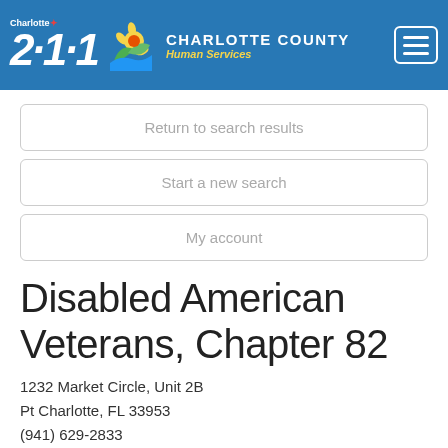Charlotte 211 — Charlotte County Human Services
Return to search results
Start a new search
My account
Disabled American Veterans, Chapter 82
1232 Market Circle, Unit 2B
Pt Charlotte, FL 33953
(941) 629-2833
http://www.davmembersportal.org/chapters/fl/82/defa